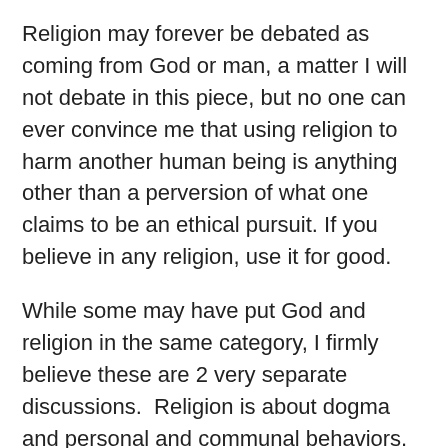Religion may forever be debated as coming from God or man, a matter I will not debate in this piece, but no one can ever convince me that using religion to harm another human being is anything other than a perversion of what one claims to be an ethical pursuit. If you believe in any religion, use it for good.
While some may have put God and religion in the same category, I firmly believe these are 2 very separate discussions.  Religion is about dogma and personal and communal behaviors.  God is rooted more in belief of a higher power, and in my opinion, there may be nothing more personal, nothing more unique than each individual's perception of the existence or lack of existence of God.  The impact of the subject of God may very well be compared to a snowflake.  No 2 people look at it entirely